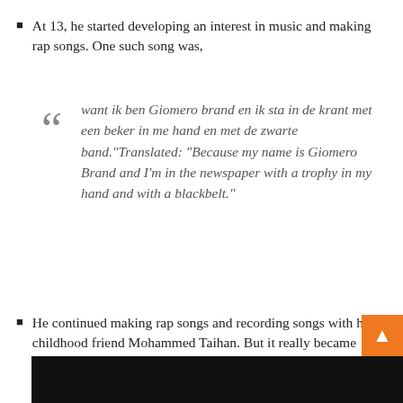At 13, he started developing an interest in music and making rap songs. One such song was,
want ik ben Giomero brand en ik sta in de krant met een beker in me hand en met de zwarte band.”Translated: “Because my name is Giomero Brand and I’m in the newspaper with a trophy in my hand and with a blackbelt.”
He continued making rap songs and recording songs with his childhood friend Mohammed Taihan. But it really became more serious when his lifelong friend. Ehis Ilekhomon (he has known him since he was 4) introduced him to his friend who also rapped.
[Figure (photo): Black image/video thumbnail at the bottom of the page]